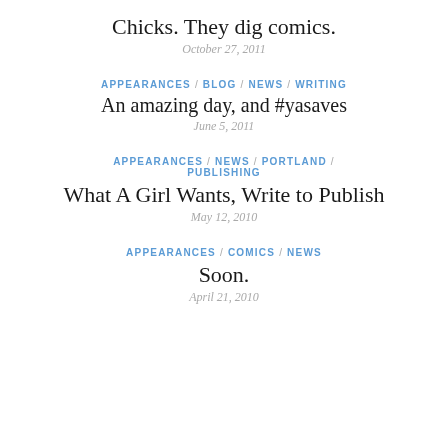Chicks. They dig comics.
October 27, 2011
APPEARANCES / BLOG / NEWS / WRITING
An amazing day, and #yasaves
June 5, 2011
APPEARANCES / NEWS / PORTLAND / PUBLISHING
What A Girl Wants, Write to Publish
May 12, 2010
APPEARANCES / COMICS / NEWS
Soon.
April 21, 2010